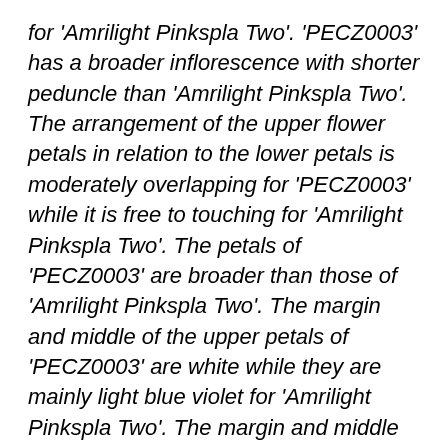for 'Amrilight Pinkspla Two'. 'PECZ0003' has a broader inflorescence with shorter peduncle than 'Amrilight Pinkspla Two'. The arrangement of the upper flower petals in relation to the lower petals is moderately overlapping for 'PECZ0003' while it is free to touching for 'Amrilight Pinkspla Two'. The petals of 'PECZ0003' are broader than those of 'Amrilight Pinkspla Two'. The margin and middle of the upper petals of 'PECZ0003' are white while they are mainly light blue violet for 'Amrilight Pinkspla Two'. The margin and middle of the lower petals of 'PECZ0003' are white while they are violet for 'Amrilight